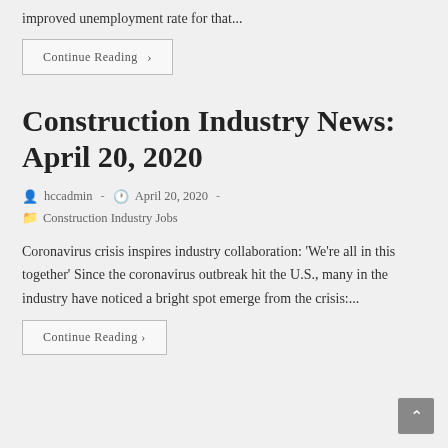improved unemployment rate for that...
Continue Reading ›
Construction Industry News: April 20, 2020
hccadmin · April 20, 2020 · Construction Industry Jobs
Coronavirus crisis inspires industry collaboration: 'We're all in this together' Since the coronavirus outbreak hit the U.S., many in the industry have noticed a bright spot emerge from the crisis:...
Continue Reading ›